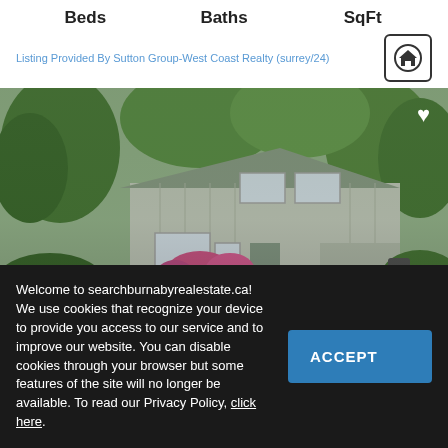Beds  Baths  SqFt
Listing Provided By Sutton Group-West Coast Realty (surrey/24)
[Figure (photo): Exterior photo of a two-storey residential house with vertical wood siding, surrounded by lush green trees and garden with pink flowering shrubs. Photo count badge shows camera icon and 29. A heart icon is visible in the upper right.]
$2,100,000
...urnaby, BC V5B 2X4
Welcome to searchburnabyrealestate.ca! We use cookies that recognize your device to provide you access to our service and to improve our website. You can disable cookies through your browser but some features of the site will no longer be available. To read our Privacy Policy, click here.
ACCEPT